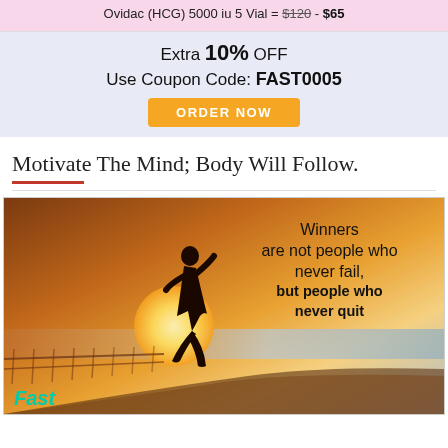[Figure (infographic): Pink ad banner for Ovidac HCG 5000 iu 5 Vial — strikethrough price $120, sale price $65. Purple/blue coupon section: Extra 10% OFF, Use Coupon Code: FAST0005, orange ORDER NOW button.]
Motivate The Mind; Body Will Follow.
[Figure (photo): Motivational photo of a runner silhouette against a sunset sky near the sea, with overlaid text: 'Winners are not people who never fail, but people who never quit'. Bottom left shows 'Fast' in teal italic text.]